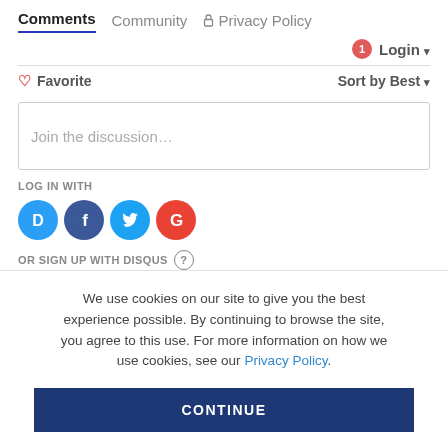Comments  Community  🔒 Privacy Policy
Login ▾
♡ Favorite    Sort by Best ▾
Join the discussion…
LOG IN WITH
[Figure (illustration): Social login icons: Disqus (blue D), Facebook (dark blue f), Twitter (light blue bird), Google (red G)]
OR SIGN UP WITH DISQUS ?
We use cookies on our site to give you the best experience possible. By continuing to browse the site, you agree to this use. For more information on how we use cookies, see our Privacy Policy.
CONTINUE